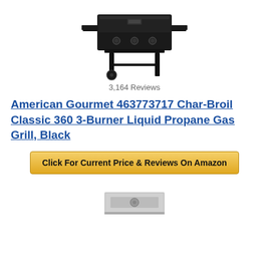[Figure (photo): Black propane gas grill (Char-Broil Classic 360 3-Burner) viewed from slightly above front angle, showing two side shelves, three control knobs, and two rear legs with wheels.]
3,164 Reviews
American Gourmet 463773717 Char-Broil Classic 360 3-Burner Liquid Propane Gas Grill, Black
Click For Current Price & Reviews On Amazon
[Figure (photo): Partial view of another grill product, showing the bottom portion with control panel area.]